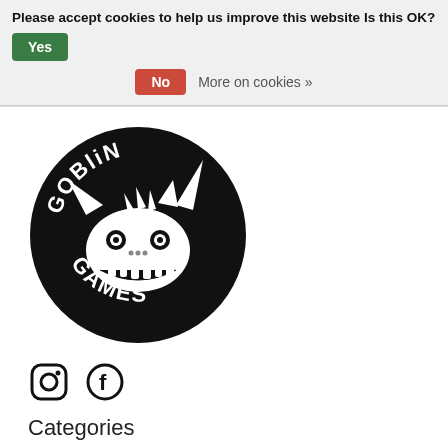Please accept cookies to help us improve this website Is this OK?  Yes  No  More on cookies »
[Figure (logo): Goblin Games circular logo: black circle with a cartoon goblin/monster face and the text 'GOBLIN GAMES' in hand-drawn lettering]
[Figure (illustration): Social media icons: Instagram and Facebook]
Categories
Preorders